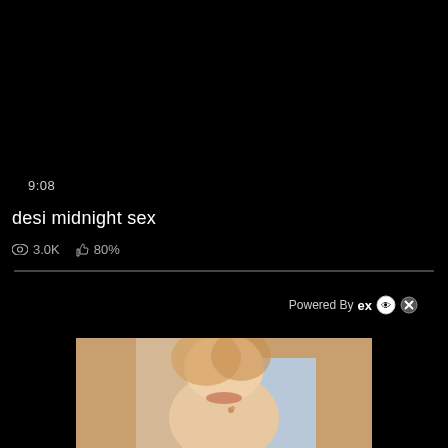9:08
desi midnight sex
3.0K  80%
Powered By ex
[Figure (photo): Thumbnail of a person with blonde hair, close-up face shot, light blue background visible]